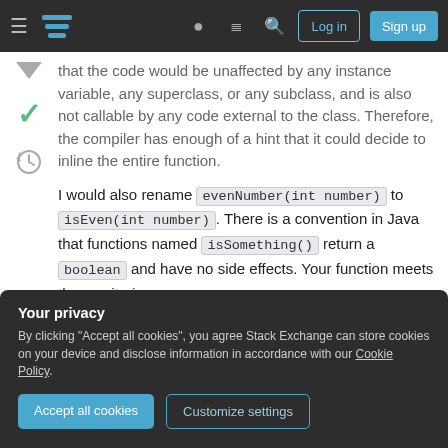Stack Exchange navigation bar with hamburger menu, logo, help icon, chat icon, search icon, Log in and Sign up buttons
that the code would be unaffected by any instance variable, any superclass, or any subclass, and is also not callable by any code external to the class. Therefore, the compiler has enough of a hint that it could decide to inline the entire function.
I would also rename evenNumber(int number) to isEven(int number). There is a convention in Java that functions named isSomething() return a boolean and have no side effects. Your function meets those criteria.
Your privacy
By clicking "Accept all cookies", you agree Stack Exchange can store cookies on your device and disclose information in accordance with our Cookie Policy.
Accept all cookies   Customize settings